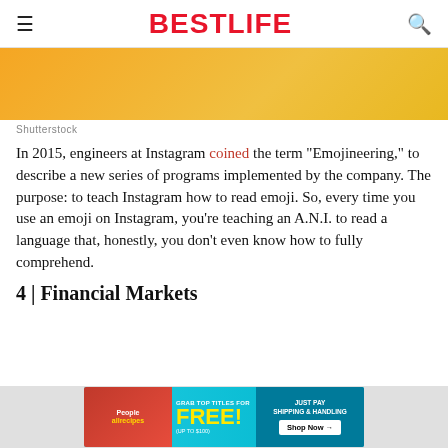BESTLIFE
[Figure (other): Orange/gold gradient banner image (Shutterstock)]
Shutterstock
In 2015, engineers at Instagram coined the term "Emojineering," to describe a new series of programs implemented by the company. The purpose: to teach Instagram how to read emoji. So, every time you use an emoji on Instagram, you're teaching an A.N.I. to read a language that, honestly, you don't even know how to fully comprehend.
4 | Financial Markets
[Figure (other): Advertisement banner: Grab top titles for FREE! Just pay shipping & handling. Shop Now. Shows People and allrecipes magazines.]